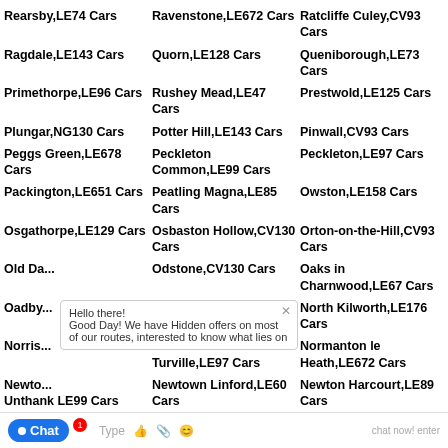Rearsby,LE74 Cars
Ravenstone,LE672 Cars
Ratcliffe Culey,CV93 Cars
Ragdale,LE143 Cars
Quorn,LE128 Cars
Queniborough,LE73 Cars
Primethorpe,LE96 Cars
Rushey Mead,LE47 Cars
Prestwold,LE125 Cars
Plungar,NG130 Cars
Potter Hill,LE143 Cars
Pinwall,CV93 Cars
Peggs Green,LE678 Cars
Peckleton Common,LE99 Cars
Peckleton,LE97 Cars
Packington,LE651 Cars
Peatling Magna,LE85 Cars
Owston,LE158 Cars
Osgathorpe,LE129 Cars
Osbaston Hollow,CV130 Cars
Orton-on-the-Hill,CV93 Cars
Old Da...
Odstone,CV130 Cars
Oaks in Charnwood,LE67 Cars
Oadby...
Noseley,LE79 Cars
North Kilworth,LE176 Cars
Norris...
Normanton Turville,LE97 Cars
Normanton le Heath,LE672 Cars
Newto... Unthank LE99 Cars
Newtown Linford,LE60 Cars
Newton Harcourt,LE89 Cars
N...
New Found Pool,LE39
Newbold Verdon,LE99